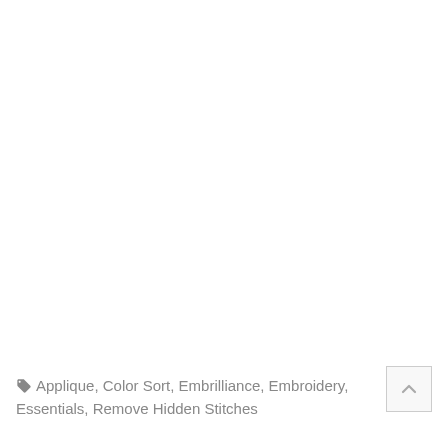🏷 Applique, Color Sort, Embrilliance, Embroidery, Essentials, Remove Hidden Stitches